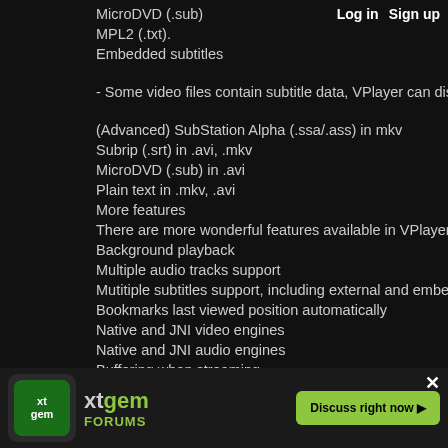Log in   Sign up
MicroDVD (.sub)
MPL2 (.txt).
Embedded subtitles
- Some video files contain subtitle data, VPlayer can displ...
(Advanced) SubStation Alpha (.ssa/.ass) in mkv
Subrip (.srt) in .avi, .mkv
MicroDVD (.sub) in .avi
Plain text in .mkv, .avi
More features
There are more wonderful features available in VPlayer.
Background playback
Multiple audio tracks support
Mutitiple subtitles support, including external and embedd...
Bookmarks last viewed position automatically
Native and JNI video engines
Native and JNI audio engines
Buffering when streaming
Adjustable aspect ratio
Automatically text encoding detection
Cust...
Brigh...
And many other features are waiting for you !
[Figure (infographic): xtgem FORUMS advertisement banner with logo and 'Discuss right now' button]